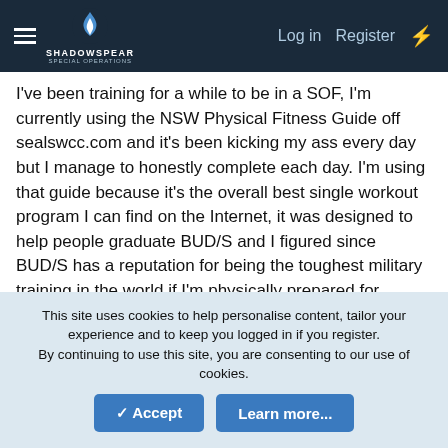ShadowSpear Special Operations — Log in | Register
I've been training for a while to be in a SOF, I'm currently using the NSW Physical Fitness Guide off sealswcc.com and it's been kicking my ass every day but I manage to honestly complete each day. I'm using that guide because it's the overall best single workout program I can find on the Internet, it was designed to help people graduate BUD/S and I figured since BUD/S has a reputation for being the toughest military training in the world if I'm physically prepared for BUD/S then I should be fine for any other pipeline, and because it targets all parts of the body better than most programs. The problem is I'm training hard, but I don't know which SOF I would enjoy being part of the most (assuming I make it) and what I want to commit to while I train for the next 2 years.
I know the basic differences between all, I've practically strip...
This site uses cookies to help personalise content, tailor your experience and to keep you logged in if you register.
By continuing to use this site, you are consenting to our use of cookies.